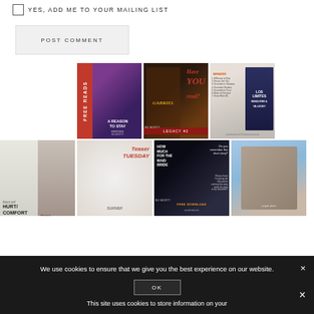YES, ADD ME TO YOUR MAILING LIST
POST COMMENT
[Figure (photo): Grid of book covers - row 1: Free Reads A Reason to Stay, Gabriel Legacy #2, Amazon Have you read? Los Limites]
[Figure (photo): Grid of book covers - row 2: Focus on Hurt/Comfort Always, Teaser Tuesday Summer, How Much For the Maid? / Do you remember this short story? Free Download, Photo of couple]
We use cookies to ensure that we give you the best experience on our website.
OK
This site uses cookies to store information on your